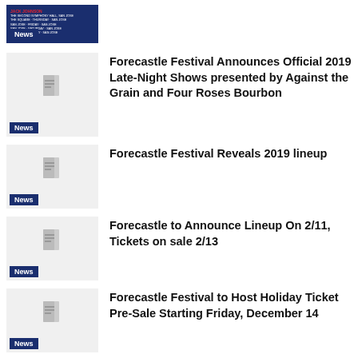[Figure (screenshot): News thumbnail with dark blue background and small text overlay, News badge at bottom left]
[Figure (screenshot): Grey placeholder thumbnail with document icon, News badge at bottom left]
Forecastle Festival Announces Official 2019 Late-Night Shows presented by Against the Grain and Four Roses Bourbon
[Figure (screenshot): Grey placeholder thumbnail with document icon, News badge at bottom left]
Forecastle Festival Reveals 2019 lineup
[Figure (screenshot): Grey placeholder thumbnail with document icon, News badge at bottom left]
Forecastle to Announce Lineup On 2/11, Tickets on sale 2/13
[Figure (screenshot): Grey placeholder thumbnail with document icon, News badge at bottom left]
Forecastle Festival to Host Holiday Ticket Pre-Sale Starting Friday, December 14